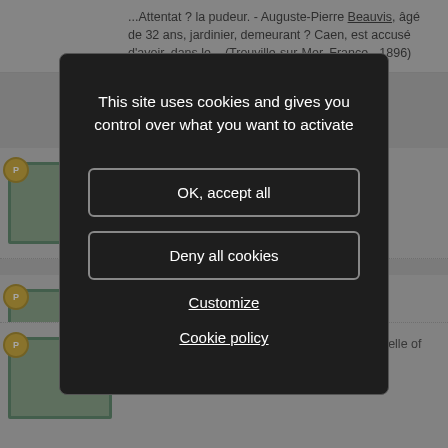...Attentat ? la pudeur. - Auguste-Pierre Beauvis, âgé de 32 ans, jardinier, demeurant ? Caen, est accusé d'avoir, dans le... (Trouville-sur-Mer, France - 1896)
[Figure (screenshot): Cookie consent modal dialog with dark background overlay over a search results page. Modal contains text 'This site uses cookies and gives you control over what you want to activate', with buttons 'OK, accept all', 'Deny all cookies', and links 'Customize' and 'Cookie policy'.]
... Arthur Beauvis of Plattsburg, and Manuel Becelle of Chazy, Monday, afternoon fell into the hands... (Keeseville, New York, United States - 1920)